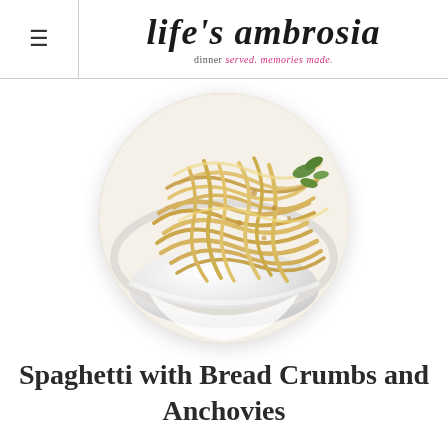life's ambrosia — dinner served. memories made.
[Figure (photo): A white bowl filled with spaghetti noodles garnished with breadcrumbs, anchovies and fresh herbs, presented in a circular crop against a white background.]
Spaghetti with Bread Crumbs and Anchovies